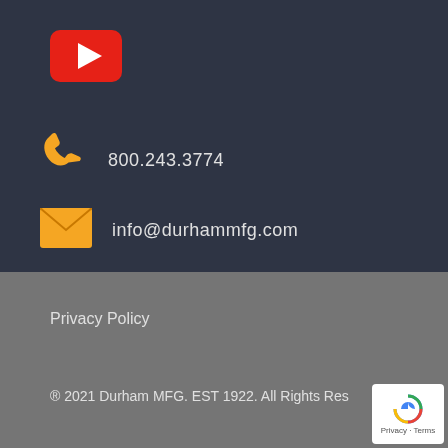[Figure (logo): YouTube logo icon - red rounded rectangle with white play triangle]
[Figure (illustration): Yellow phone/handset icon]
800.243.3774
[Figure (illustration): Yellow envelope/email icon]
info@durhammfg.com
Privacy Policy
® 2021 Durham MFG. EST 1922. All Rights Res
[Figure (logo): reCAPTCHA badge with Privacy and Terms text]